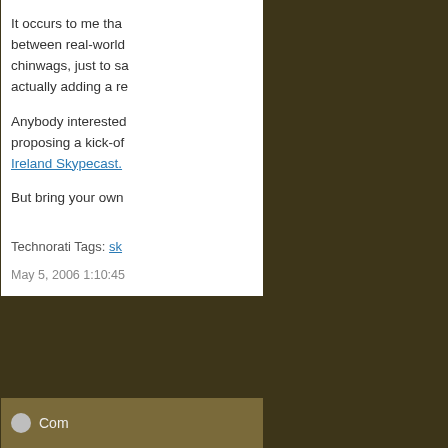It occurs to me that between real-world chinwags, just to sa… actually adding a re…
Anybody interested… proposing a kick-of… Ireland Skypecast.
But bring your own…
Technorati Tags: sk…
May 5, 2006 1:10:45…
Com…
The Broa…
Damien "The Broa…